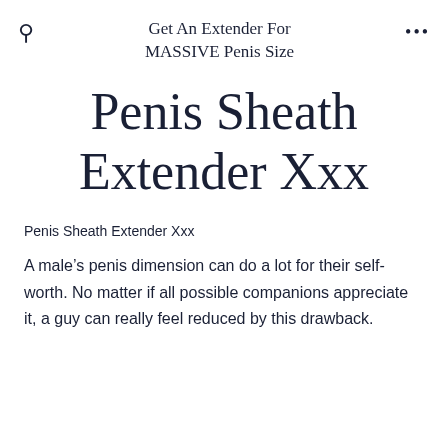Get An Extender For MASSIVE Penis Size
Penis Sheath Extender Xxx
Penis Sheath Extender Xxx
A male's penis dimension can do a lot for their self-worth. No matter if all possible companions appreciate it, a guy can really feel reduced by this drawback.